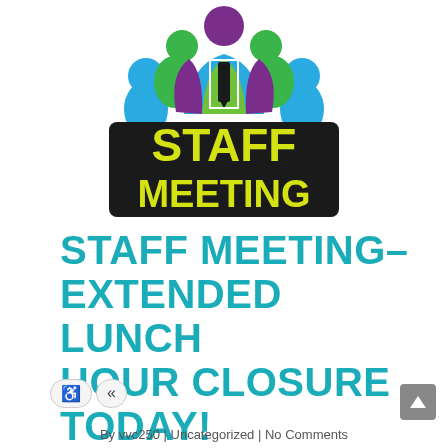[Figure (logo): Staff Meeting logo with colorful figures (purple, green, blue) in fan arrangement above text STAFF MEETING in yellow block letters with dark outline]
STAFF MEETING– EXTENDED LUNCH HOUR CLOSURE TODAY!
By vvc250 | Uncategorized | No Comments